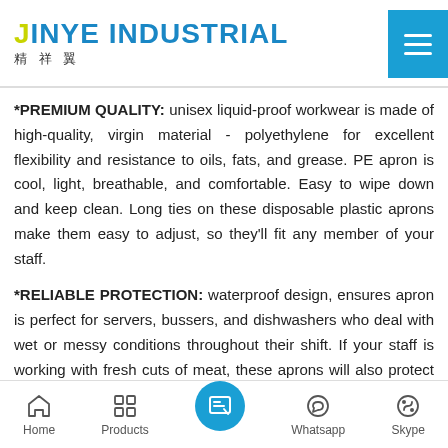JINYE INDUSTRIAL 精祥翼
*PREMIUM QUALITY: unisex liquid-proof workwear is made of high-quality, virgin material - polyethylene for excellent flexibility and resistance to oils, fats, and grease. PE apron is cool, light, breathable, and comfortable. Easy to wipe down and keep clean. Long ties on these disposable plastic aprons make them easy to adjust, so they'll fit any member of your staff.
*RELIABLE PROTECTION: waterproof design, ensures apron is perfect for servers, bussers, and dishwashers who deal with wet or messy conditions throughout their shift. If your staff is working with fresh cuts of meat, these aprons will also protect their clothes from raw juices. Protect your clothing from liquid
Home  Products  [icon]  Whatsapp  Skype